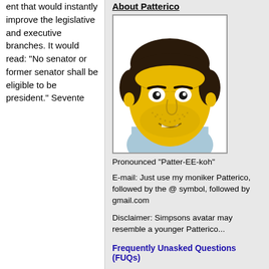ent that would instantly improve the legislative and executive branches. It would read: “No senator or former senator shall be eligible to be president.” Sevente
About Patterico
[Figure (illustration): Simpsons-style cartoon avatar of a man with dark hair, yellow skin, stubble, and a slight smile, wearing a light blue shirt]
Pronounced "Patter-EE-koh"
E-mail: Just use my moniker Patterico, followed by the @ symbol, followed by gmail.com
Disclaimer: Simpsons avatar may resemble a younger Patterico...
Frequently Unasked Questions (FUQs)
Contributor:
Hot Air
Big Journalism
What They're Saying